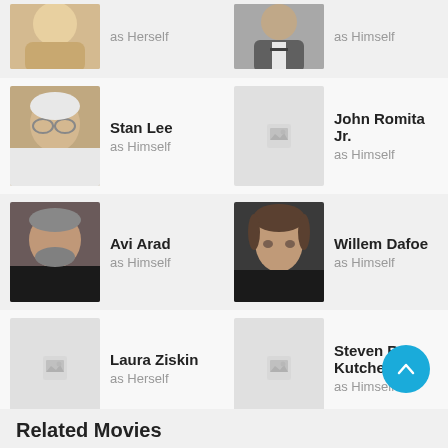[Figure (photo): Partial photo of a blonde woman, cropped at top]
as Herself
[Figure (photo): Partial photo of a man in suit, cropped at top]
as Himself
[Figure (photo): Photo of Stan Lee]
Stan Lee
as Himself
[Figure (photo): Placeholder image for John Romita Jr.]
John Romita Jr.
as Himself
[Figure (photo): Photo of Avi Arad]
Avi Arad
as Himself
[Figure (photo): Photo of Willem Dafoe]
Willem Dafoe
as Himself
[Figure (photo): Placeholder image for Laura Ziskin]
Laura Ziskin
as Herself
[Figure (photo): Placeholder image for Steven R. Kutcher]
Steven R. Kutcher
as Himself
[Figure (photo): Photo of James Franco]
James Franco
as Himself
Related Movies